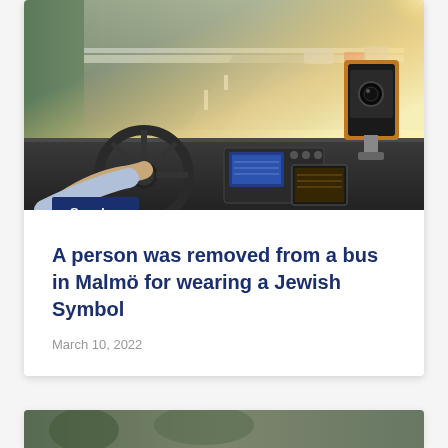[Figure (photo): Interior view of a bus cab showing driver's hands on steering wheel, dashboard with screens and controls, and a GPS/camera device mounted on the windshield. Highway visible through the windshield with cars in background and sunlight glare.]
Sweden
A person was removed from a bus in Malmö for wearing a Jewish Symbol
March 10, 2022
[Figure (photo): Partial bottom strip showing the top of another photo/article card below.]